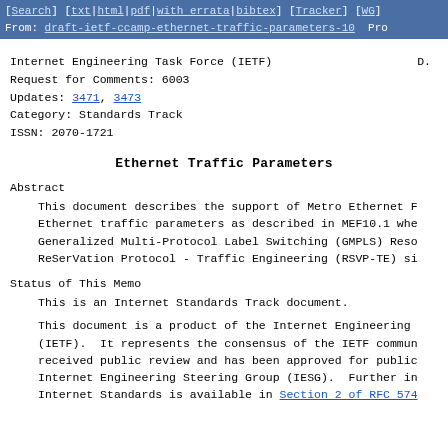[Search] [txt|html|pdf|with errata|bibtex] [Tracker] [WG]
From: draft-ietf-ccamp-ethernet-traffic-parameters-10  Pro
Internet Engineering Task Force (IETF)                    D.
Request for Comments: 6003
Updates: 3471, 3473
Category: Standards Track
ISSN: 2070-1721
Ethernet Traffic Parameters
Abstract
This document describes the support of Metro Ethernet F
Ethernet traffic parameters as described in MEF10.1 whe
Generalized Multi-Protocol Label Switching (GMPLS) Reso
ReSerVation Protocol - Traffic Engineering (RSVP-TE) si
Status of This Memo
This is an Internet Standards Track document.
This document is a product of the Internet Engineering
(IETF).  It represents the consensus of the IETF commun
received public review and has been approved for public
Internet Engineering Steering Group (IESG).  Further in
Internet Standards is available in Section 2 of RFC 574